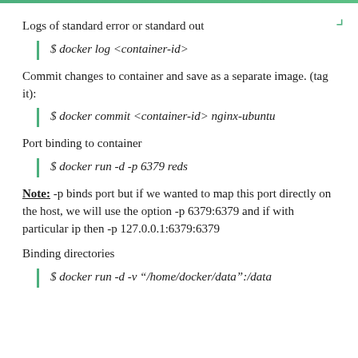Logs of standard error or standard out
$ docker log <container-id>
Commit changes to container and save as a separate image. (tag it):
$ docker commit <container-id> nginx-ubuntu
Port binding to container
$ docker run -d -p 6379 reds
Note: -p binds port but if we wanted to map this port directly on the host, we will use the option -p 6379:6379 and if with particular ip then -p 127.0.0.1:6379:6379
Binding directories
$ docker run -d -v "/home/docker/data":/data